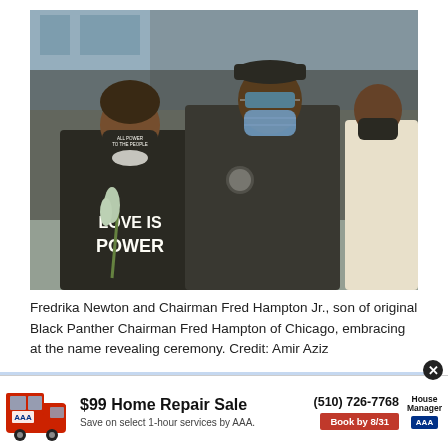[Figure (photo): Three people wearing face masks standing outdoors. A woman on the left wears a black jacket reading 'LOVE IS POWER' and holds white flowers, wearing a black mask with text. A man in the center wears a dark jacket with a badge and a blue patterned mask and flat cap. A third person is partially visible on the right wearing a black mask and white shirt.]
Fredrika Newton and Chairman Fred Hampton Jr., son of original Black Panther Chairman Fred Hampton of Chicago, embracing at the name revealing ceremony. Credit: Amir Aziz
[Figure (other): Advertisement banner: AAA $99 Home Repair Sale. Save on select 1-hour services by AAA. Phone: (510) 726-7768. Book by 8/31. House Manager logo.]